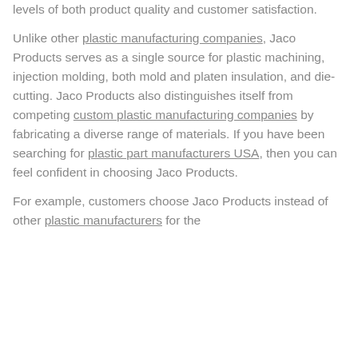levels of both product quality and customer satisfaction.
Unlike other plastic manufacturing companies, Jaco Products serves as a single source for plastic machining, injection molding, both mold and platen insulation, and die-cutting. Jaco Products also distinguishes itself from competing custom plastic manufacturing companies by fabricating a diverse range of materials. If you have been searching for plastic part manufacturers USA, then you can feel confident in choosing Jaco Products.
For example, customers choose Jaco Products instead of other plastic manufacturers for the